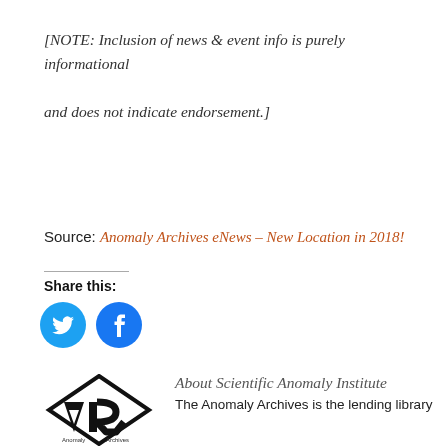[NOTE: Inclusion of news & event info is purely informational and does not indicate endorsement.]
Source: Anomaly Archives eNews – New Location in 2018!
Share this:
[Figure (illustration): Twitter and Facebook social share circular icon buttons (blue circles with white bird and f icons)]
[Figure (logo): Scientific Anomaly Institute / Anomaly Archives logo — black geometric AR letters mark]
About Scientific Anomaly Institute
The Anomaly Archives is the lending library